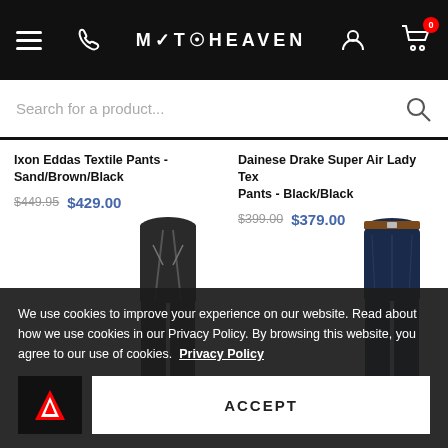MOTOHEAVEN
Search for a product...
Ixon Eddas Textile Pants - Sand/Brown/Black
$449.95  $429.00
Dainese Drake Super Air Lady Tex Pants - Black/Black
$399.00  $379.00
[Figure (photo): Dark textile motorcycle pants (Ixon Eddas), waist and upper leg visible]
[Figure (photo): Dark blue denim motorcycle jeans (Dainese Drake), waist and upper leg visible, brown belt]
We use cookies to improve your experience on our website. Read about how we use cookies in our Privacy Policy. By browsing this website, you agree to our use of cookies.  Privacy Policy
ACCEPT